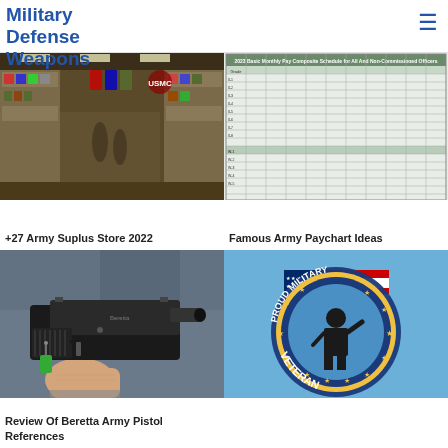Military Defense Weapons
[Figure (photo): Interior of an army surplus store with merchandise on display]
+27 Army Suplus Store 2022
[Figure (photo): Army Pay Chart table with rows and columns of pay data]
Famous Army Paychart Ideas
[Figure (photo): Hand holding a Beretta pistol with green tag]
Review Of Beretta Army Pistol References
[Figure (illustration): Proud Military Veteran circular badge with soldier saluting American flag]